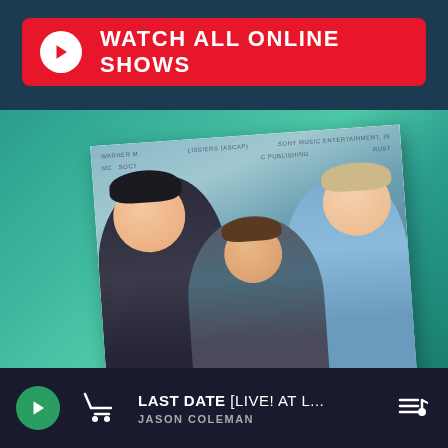[Figure (infographic): Red banner button with white play circle icon and text WATCH ALL ONLINE SHOWS on dark navy background]
[Figure (photo): Family photo of three people - man on left, young boy in center, woman on right - smiling together. Photo appears as a tilted card/album cover with watermark text visible including SONY MUSIC ENTERTAINMENT and other publisher names. Set against teal/green background.]
LAST DATE [LIVE! AT L...
JASON COLEMAN